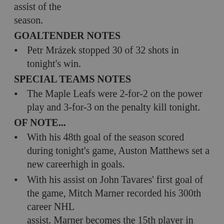assist of the season.
GOALTENDER NOTES
Petr Mrázek stopped 30 of 32 shots in tonight's win.
SPECIAL TEAMS NOTES
The Maple Leafs were 2-for-2 on the power play and 3-for-3 on the penalty kill tonight.
OF NOTE...
With his 48th goal of the season scored during tonight's game, Auston Matthews set a new careerhigh in goals.
With his assist on John Tavares' first goal of the game, Mitch Marner recorded his 300th career NHL assist. Marner becomes the 15th player in Maple Leafs history to record 300 assists and